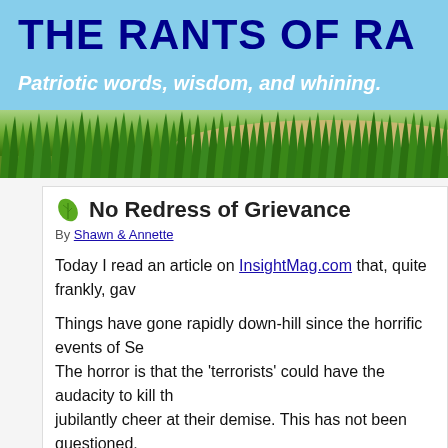The RAnts of RA
Patriotic words, wisdom, and whining.
No Redress of Grievance
By Shawn & Annette
Today I read an article on InsightMag.com that, quite frankly, gav
Things have gone rapidly down-hill since the horrific events of Se... The horror is that the 'terrorists' could have the audacity to kill th... jubilantly cheer at their demise. This has not been questioned.
However, the real tragedy in the WTC and Pentagon attacks is t... Government and individual States have immediately and collecti... of our great nation, in the name of 'security'.